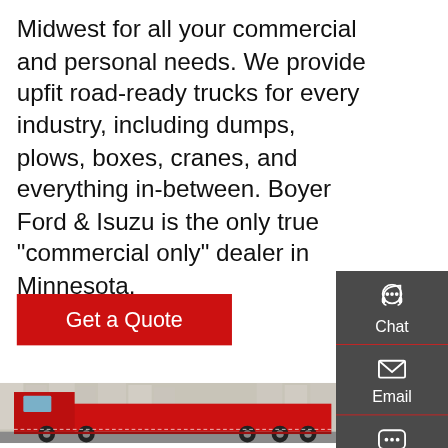Midwest for all your commercial and personal needs. We provide upfit road-ready trucks for every industry, including dumps, plows, boxes, cranes, and everything in-between. Boyer Ford & Isuzu is the only true "commercial only" dealer in Minnesota.
Get a Quote
[Figure (photo): A large red commercial dump truck parked on a street with tall residential buildings in the background.]
[Figure (infographic): Dark gray sidebar with three contact options: Chat (headset icon), Email (envelope icon), Contact (speech bubble icon), and a Top (up arrow) scroll button, each separated by red lines.]